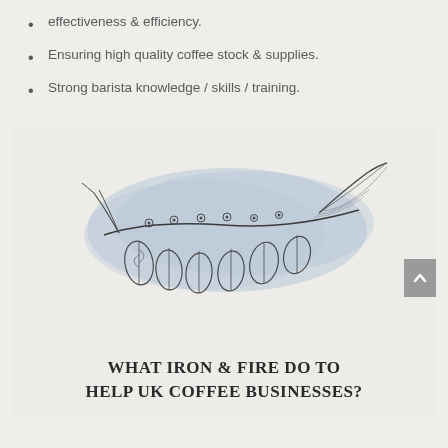effectiveness & efficiency.
Ensuring high quality coffee stock & supplies.
Strong barista knowledge / skills / training.
[Figure (illustration): Botanical illustration of a coffee plant branch with leaves and flowers on a blue watercolor wash background]
WHAT IRON & FIRE DO TO HELP UK COFFEE BUSINESSES?